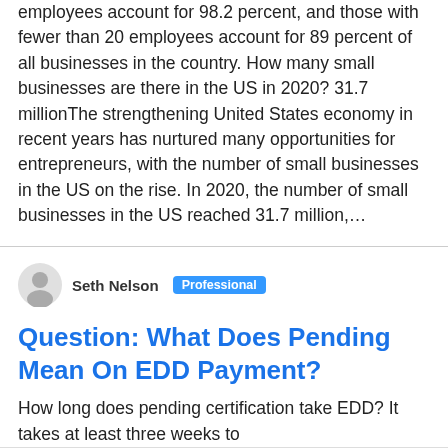employees account for 98.2 percent, and those with fewer than 20 employees account for 89 percent of all businesses in the country. How many small businesses are there in the US in 2020? 31.7 millionThe strengthening United States economy in recent years has nurtured many opportunities for entrepreneurs, with the number of small businesses in the US on the rise. In 2020, the number of small businesses in the US reached 31.7 million,…
Seth Nelson  Professional
Question: What Does Pending Mean On EDD Payment?
How long does pending certification take EDD? It takes at least three weeks to